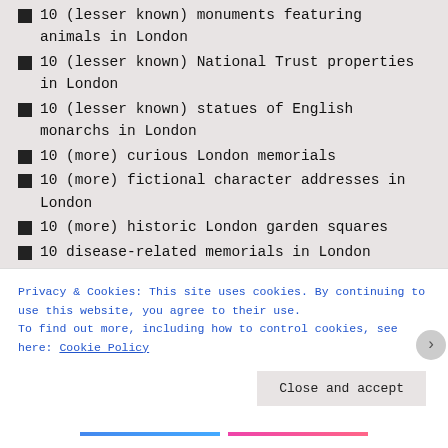10 (lesser known) monuments featuring animals in London
10 (lesser known) National Trust properties in London
10 (lesser known) statues of English monarchs in London
10 (more) curious London memorials
10 (more) fictional character addresses in London
10 (more) historic London garden squares
10 disease-related memorials in London
10 fictional character addresses in London
10 Historic London Garden Squares
10 historic London hotels
10 Historic London Markets
10 Historic Sporting Events in London
10 historic stairways in London
10 iconic London film locations
Privacy & Cookies: This site uses cookies. By continuing to use this website, you agree to their use.
To find out more, including how to control cookies, see here: Cookie Policy